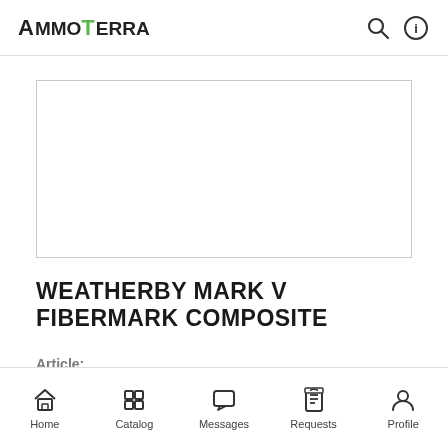AmmoTerra
[Figure (photo): Product image placeholder box, empty white rectangle with border]
WEATHERBY MARK V FIBERMARK COMPOSITE
Article:
Home  Catalog  Messages  Requests  Profile